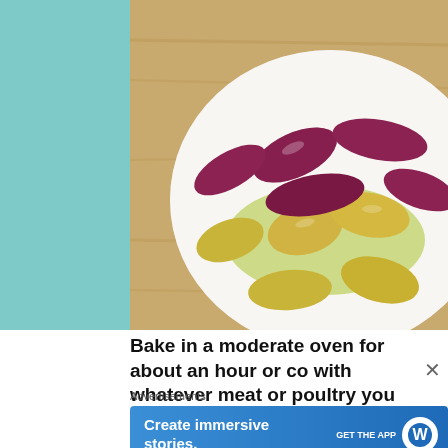[Figure (photo): A white bowl filled with small fingerling potatoes — a mix of purple/red and yellow varieties — glistening with olive oil and herbs, sitting on a wooden surface. Only the right portion of the bowl is visible.]
Bake in a moderate oven for about an hour or co with whatever meat or poultry you are roast
Advertisements
[Figure (screenshot): WordPress advertisement banner: 'Create immersive stories.' with 'GET THE APP' call to action and WordPress logo on a blue gradient background.]